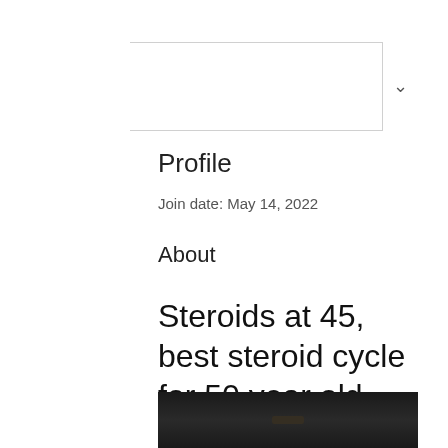∨
Profile
Join date: May 14, 2022
About
Steroids at 45, best steroid cycle for 50 year old male
Steroids at 45, best steroid cycle for 50 year old male - Buy steroids online
[Figure (photo): Dark image preview at bottom of page]